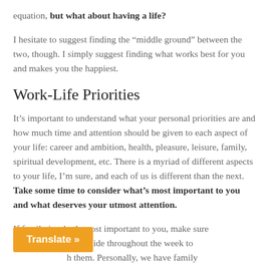equation, but what about having a life?
I hesitate to suggest finding the “middle ground” between the two, though. I simply suggest finding what works best for you and makes you the happiest.
Work-Life Priorities
It’s important to understand what your personal priorities are and how much time and attention should be given to each aspect of your life: career and ambition, health, pleasure, leisure, family, spiritual development, etc. There is a myriad of different aspects to your life, I’m sure, and each of us is different than the next. Take some time to consider what’s most important to you and what deserves your utmost attention.
If family is what’s most important to you, make sure … time aside throughout the week to … h them. Personally, we have family
Translate »